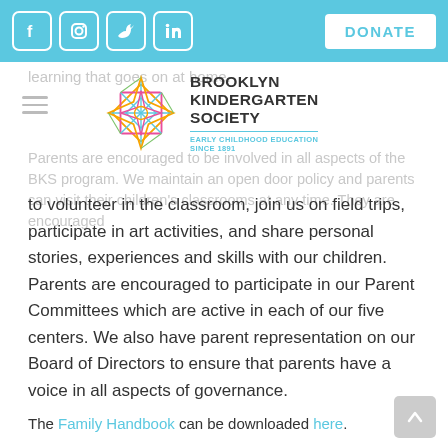Navigation bar with social icons (Facebook, Instagram, Twitter, LinkedIn) and DONATE button
[Figure (logo): Brooklyn Kindergarten Society geometric star logo in multicolor (pink, yellow, blue, green) with text: BROOKLYN KINDERGARTEN SOCIETY, EARLY CHILDHOOD EDUCATION SINCE 1891]
learning that goes on at home.
Parents are encouraged to be involved in all aspects of the BKS program. We maintain an open door policy and parents can visit their children's classrooms at any time. They are encouraged to volunteer in the classroom, join us on field trips, participate in art activities, and share personal stories, experiences and skills with our children. Parents are encouraged to participate in our Parent Committees which are active in each of our five centers. We also have parent representation on our Board of Directors to ensure that parents have a voice in all aspects of governance.
The Family Handbook can be downloaded here.